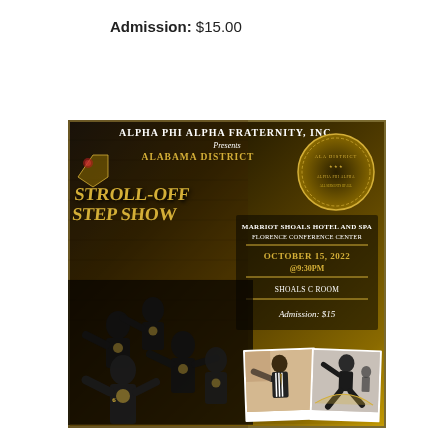Admission: $15.00
[Figure (illustration): Flyer for Alpha Phi Alpha Fraternity, Inc. Alabama District Stroll-Off Step Show event flyer. Features fraternity members stepping/strolling in black t-shirts, three photos embedded. Text reads: Alpha Phi Alpha Fraternity, Inc. Presents Alabama District Stroll-Off Step Show. Marriot Shoals Hotel and Spa Florence Conference Center. October 15, 2022 @9:30PM. Shoals C Room. Admission: $15. Features fraternity seal/emblem and decorative gold/black design.]